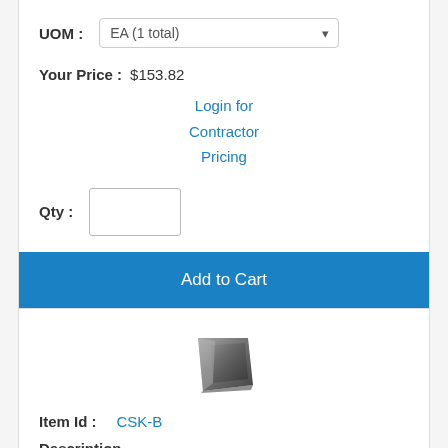UOM : EA (1 total)
Your Price : $153.82
Login for Contractor Pricing
Qty :
Add to Cart
[Figure (photo): Small product thumbnail image of a metal bracket or similar hardware item]
Item Id : CSK-B
Description